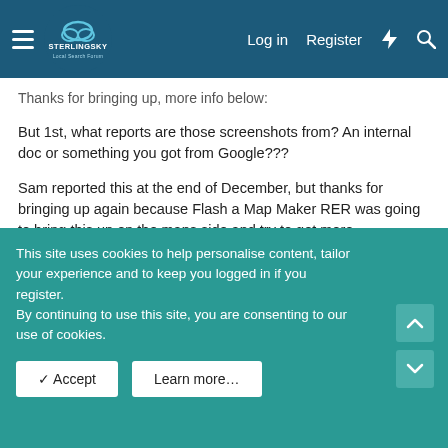Sterling Sky Local Search Forum — Log in | Register
Thanks for bringing up, more info below:
But 1st, what reports are those screenshots from? An internal doc or something you got from Google???
Sam reported this at the end of December, but thanks for bringing up again because Flash a Map Maker RER was going to bring this up on the maps side and try to get more information. Here is the thread:
<a href="http://www.localsearchforum.com/google-local/26423-did-google-update-all-address-abbreviation-google-local-maps.html">Did Google update all address abbreviation for Google Local and Maps?</a>
This site uses cookies to help personalise content, tailor your experience and to keep you logged in if you register.
By continuing to use this site, you are consenting to our use of cookies.